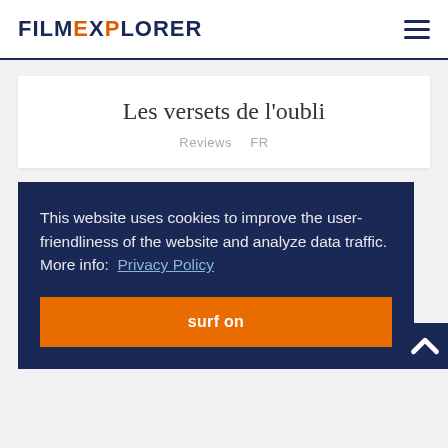FILMEXPLORER
Les versets de l'oubli
Reviews  FR
This website uses cookies to improve the user-friendliness of the website and analyze data traffic. More info:  Privacy Policy
surf on